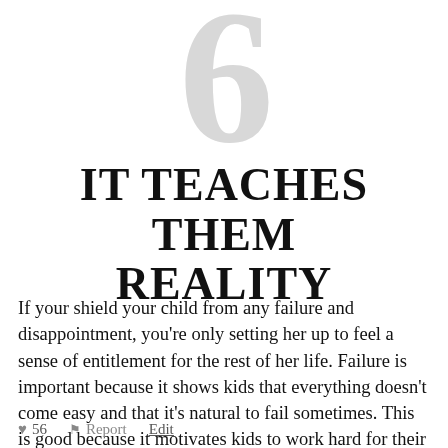6
IT TEACHES THEM REALITY
If your shield your child from any failure and disappointment, you’re only setting her up to feel a sense of entitlement for the rest of her life. Failure is important because it shows kids that everything doesn’t come easy and that it’s natural to fail sometimes. This is good because it motivates kids to work hard for their success instead of feeling like everything is going to come easy.
♥ 56   🚩 Report   Edit